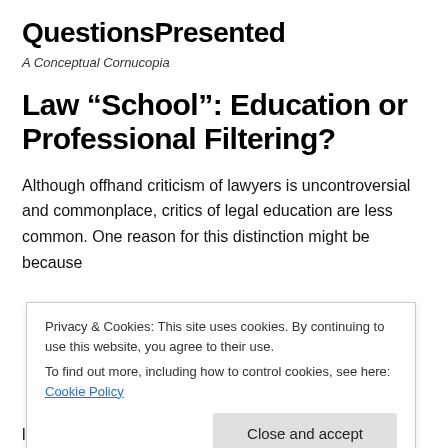QuestionsPresented
A Conceptual Cornucopia
Law “School”: Education or Professional Filtering?
Although offhand criticism of lawyers is uncontroversial and commonplace, critics of legal education are less common. One reason for this distinction might be because f…
Privacy & Cookies: This site uses cookies. By continuing to use this website, you agree to their use.
To find out more, including how to control cookies, see here: Cookie Policy
Close and accept
lives, hundreds of thousands of their dollars, and their